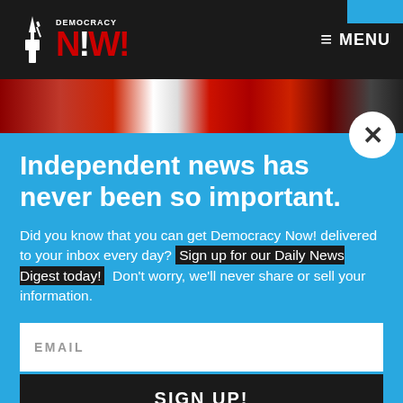Democracy Now! — MENU
[Figure (photo): Hero banner image showing blurred figures in red, white, and dark tones]
Independent news has never been so important.
Did you know that you can get Democracy Now! delivered to your inbox every day? Sign up for our Daily News Digest today! Don't worry, we'll never share or sell your information.
EMAIL
SIGN UP!